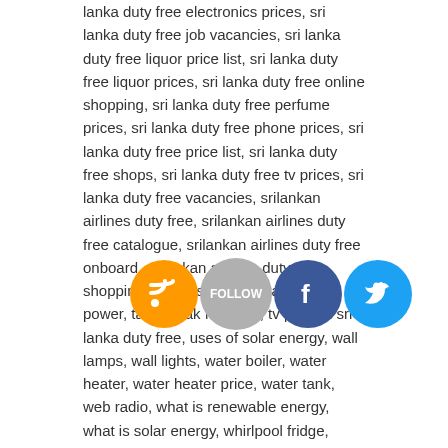lanka duty free electronics prices, sri lanka duty free job vacancies, sri lanka duty free liquor price list, sri lanka duty free liquor prices, sri lanka duty free online shopping, sri lanka duty free perfume prices, sri lanka duty free phone prices, sri lanka duty free price list, sri lanka duty free shops, sri lanka duty free tv prices, sri lanka duty free vacancies, srilankan airlines duty free, srilankan airlines duty free catalogue, srilankan airlines duty free onboard, srilankan airlines duty free shopping, stove, streaming radio, sun power, table, teak furniture, tv price in sri lanka duty free, uses of solar energy, wall lamps, wall lights, water boiler, water heater, water heater price, water tank, web radio, what is renewable energy, what is solar energy, whirlpool fridge, whirlpool refrigerator, wind generator, wind mill, wind power, wind turbine, wind turbine design, wind turbine manufacturers, window air conditioner, wooden furniture 1 Comment
Mont Blanc TimeWalker Urban Speed Chronograph watch available in Sri Lanka
The Montblanc TimeWalker Urban Speed